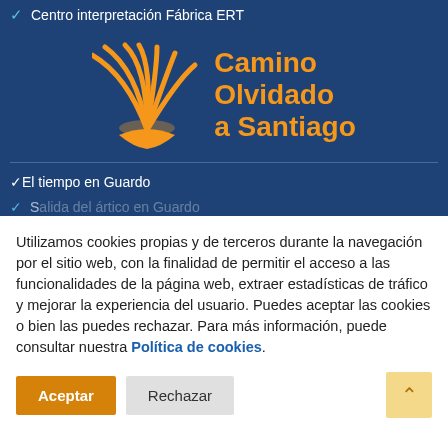✓ Centro interpretación Fábrica ERT
[Figure (logo): Camino Olvidado a Santiago logo with orange sun/shell burst graphic and orange bold text on dark blue background]
✓ El tiempo en Guardo
✓ Salida del ártico en Guardo (partial/cut off)
Utilizamos cookies propias y de terceros durante la navegación por el sitio web, con la finalidad de permitir el acceso a las funcionalidades de la página web, extraer estadísticas de tráfico y mejorar la experiencia del usuario. Puedes aceptar las cookies o bien las puedes rechazar. Para más información, puede consultar nuestra Política de cookies.